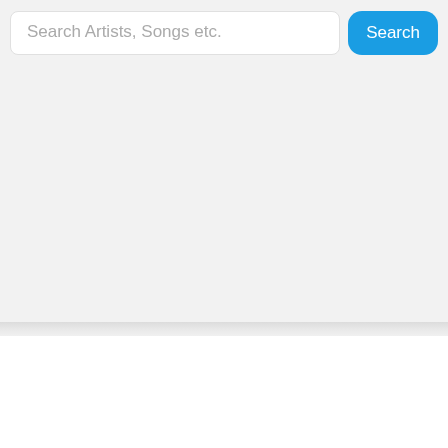[Figure (screenshot): Mobile app UI screenshot showing a search bar with placeholder text 'Search Artists, Songs etc.' and a blue rounded 'Search' button on the right, on a light gray background.]